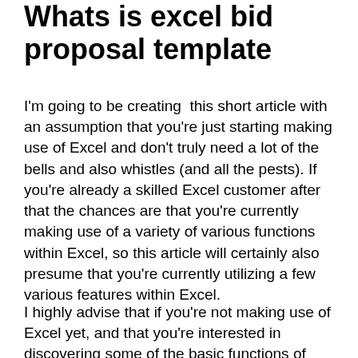Whats is excel bid proposal template
I'm going to be creating  this short article with an assumption that you're just starting making use of Excel and don't truly need a lot of the bells and also whistles (and all the pests). If you're already a skilled Excel customer after that the chances are that you're currently making use of a variety of various functions within Excel, so this article will certainly also presume that you're currently utilizing a few various features within Excel.
I highly advise that if you're not making use of Excel yet, and that you're interested in discovering some of the basic functions of